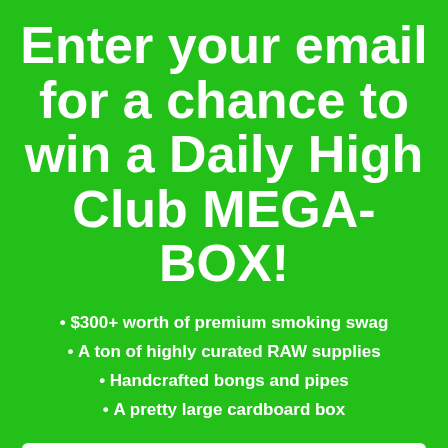Enter your email for a chance to win a Daily High Club MEGA-BOX!
• $300+ worth of premium smoking swag
• A ton of highly curated RAW supplies
• Handcrafted bongs and pipes
• A pretty large cardboard box
Your Email Address
ENTER TO WIN A MEGA BOX